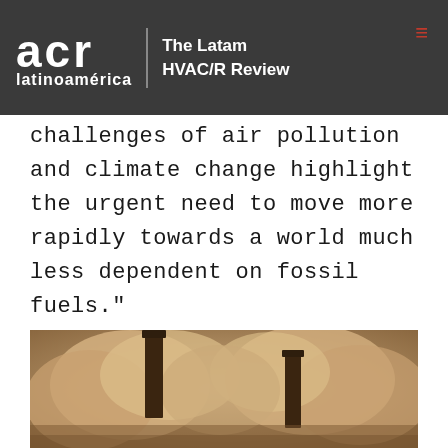acr latinoamérica — The Latam HVAC/R Review
challenges of air pollution and climate change highlight the urgent need to move more rapidly towards a world much less dependent on fossil fuels."
[Figure (photo): Sepia-toned photograph of two industrial smokestacks emitting large clouds of smoke against a hazy sky]